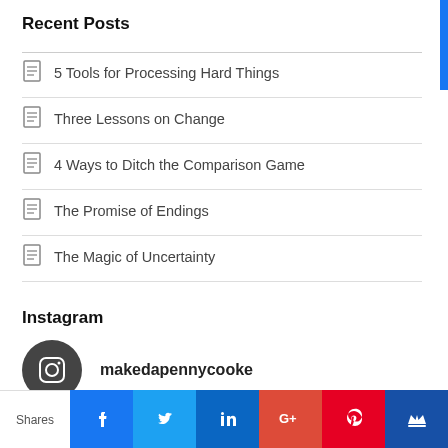Recent Posts
5 Tools for Processing Hard Things
Three Lessons on Change
4 Ways to Ditch the Comparison Game
The Promise of Endings
The Magic of Uncertainty
Instagram
makedapennycooke
[Figure (photo): Dark photo strip at bottom of Instagram section]
Shares
[Figure (infographic): Social sharing bar with Facebook, Twitter, LinkedIn, Google+, Pinterest, and crown icons]